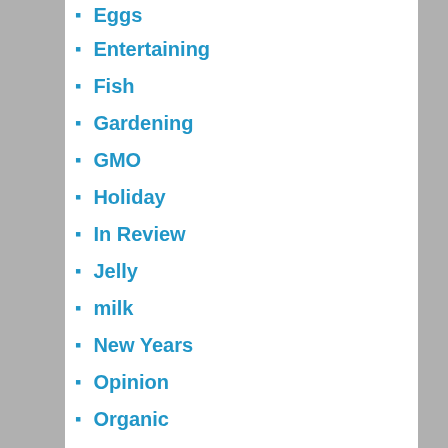Eggs
Entertaining
Fish
Gardening
GMO
Holiday
In Review
Jelly
milk
New Years
Opinion
Organic
Pasta
Pizza
Pork Chops
Potatoes
preserves
Ravioli
Sandwiches
Sauce
Soups